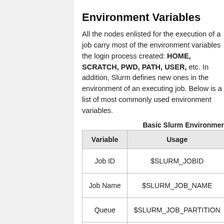Documentation...
Environment Variables
All the nodes enlisted for the execution of a job carry most of the environment variables the login process created: HOME, SCRATCH, PWD, PATH, USER, etc. In addition, Slurm defines new ones in the environment of an executing job. Below is a list of most commonly used environment variables.
Basic Slurm Environmer
| Variable | Usage |
| --- | --- |
| Job ID | $SLURM_JOBID |
| Job Name | $SLURM_JOB_NAME |
| Queue | $SLURM_JOB_PARTITION |
| Submit |  |